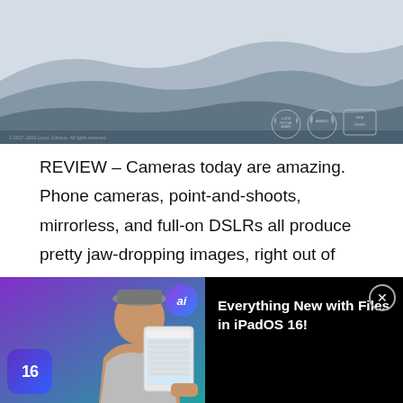[Figure (photo): Landscape photo showing layered misty mountains in blue-grey tones with award laurels in bottom right corner]
REVIEW – Cameras today are amazing. Phone cameras, point-and-shoots, mirrorless, and full-on DSLRs all produce pretty jaw-dropping images, right out of the camera, all on automatic.  You can certainly tweak them in-camera by changing ISO, aperture, shutter speed, and white balance, but that definitely
[Figure (screenshot): Video overlay at bottom of screen showing thumbnail of man holding iPad with iOS 16 badge, and title 'Everything New with Files in iPadOS 16!' on black background with close button]